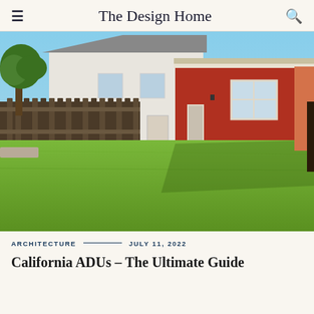The Design Home
[Figure (photo): Backyard photo showing a red barn-style structure with white trim and a window, adjacent to a white house, separated by a wooden fence, with a large green lawn in the foreground and a tree on the left side.]
ARCHITECTURE — JULY 11, 2022
California ADUs – The Ultimate Guide